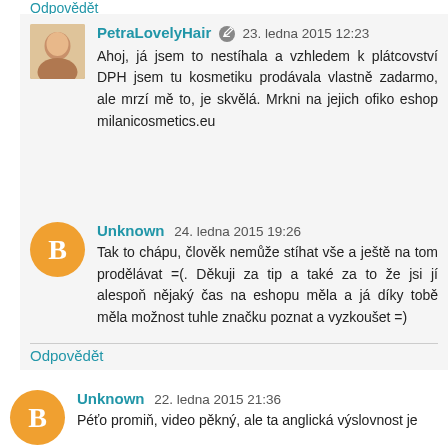Odpovědět
PetraLovelyHair  23. ledna 2015 12:23
Ahoj, já jsem to nestíhala a vzhledem k plátcovství DPH jsem tu kosmetiku prodávala vlastně zadarmo, ale mrzí mě to, je skvělá. Mrkni na jejich ofiko eshop milanicosmetics.eu
Unknown  24. ledna 2015 19:26
Tak to chápu, člověk nemůže stíhat vše a ještě na tom prodělávat =(. Děkuji za tip a také za to že jsi jí alespoň nějaký čas na eshopu měla a já díky tobě měla možnost tuhle značku poznat a vyzkoušet =)
Odpovědět
Unknown  22. ledna 2015 21:36
Péťo promiň, video pěkný, ale ta anglická výslovnost je